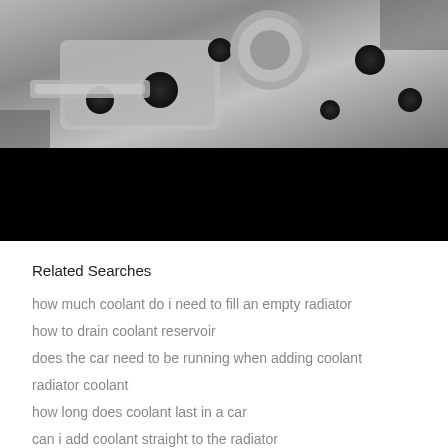[Figure (photo): Close-up photograph of a metal radiator cap or engine component, showing metallic parts with holes and a radiator cap mechanism, in black and white/grayscale. A black redacted bar covers the lower portion of the image.]
Related Searches
how much coolant do i need to fill an empty radiator
how to drain coolant reservoir
does the car need to be running when adding coolant
radiator coolant
how long does coolant last in a car
can i add coolant straight to the radiator
how to refill radiator without cap
how to fill a radiator